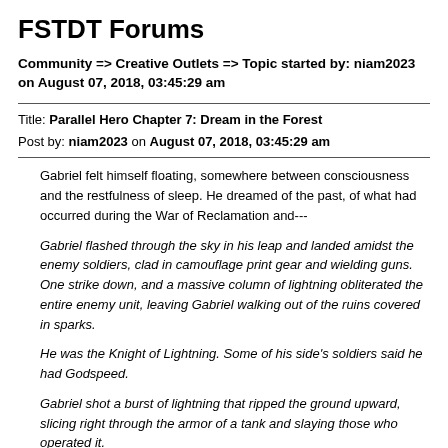FSTDT Forums
Community => Creative Outlets => Topic started by: niam2023 on August 07, 2018, 03:45:29 am
Title: Parallel Hero Chapter 7: Dream in the Forest
Post by: niam2023 on August 07, 2018, 03:45:29 am
Gabriel felt himself floating, somewhere between consciousness and the restfulness of sleep. He dreamed of the past, of what had occurred during the War of Reclamation and---
Gabriel flashed through the sky in his leap and landed amidst the enemy soldiers, clad in camouflage print gear and wielding guns. One strike down, and a massive column of lightning obliterated the entire enemy unit, leaving Gabriel walking out of the ruins covered in sparks.
He was the Knight of Lightning. Some of his side's soldiers said he had Godspeed.
Gabriel shot a burst of lightning that ripped the ground upward, slicing right through the armor of a tank and slaying those who operated it.
He and other knights fought using arts most among their